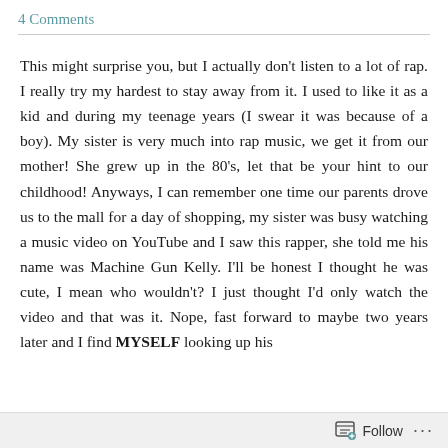4 Comments
This might surprise you, but I actually don't listen to a lot of rap. I really try my hardest to stay away from it. I used to like it as a kid and during my teenage years (I swear it was because of a boy). My sister is very much into rap music, we get it from our mother! She grew up in the 80's, let that be your hint to our childhood! Anyways, I can remember one time our parents drove us to the mall for a day of shopping, my sister was busy watching a music video on YouTube and I saw this rapper, she told me his name was Machine Gun Kelly. I'll be honest I thought he was cute, I mean who wouldn't? I just thought I'd only watch the video and that was it. Nope, fast forward to maybe two years later and I find MYSELF looking up his
Follow